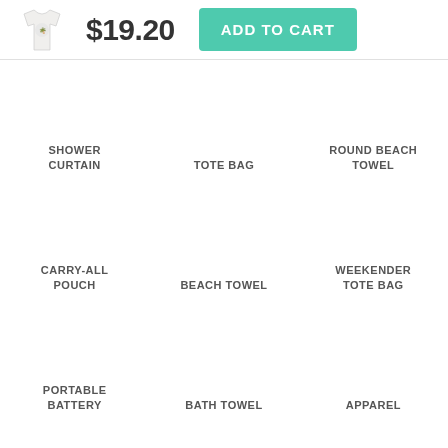[Figure (screenshot): White t-shirt with La Angeles palm tree design]
$19.20
ADD TO CART
SHOWER CURTAIN
TOTE BAG
ROUND BEACH TOWEL
CARRY-ALL POUCH
BEACH TOWEL
WEEKENDER TOTE BAG
PORTABLE BATTERY
BATH TOWEL
APPAREL